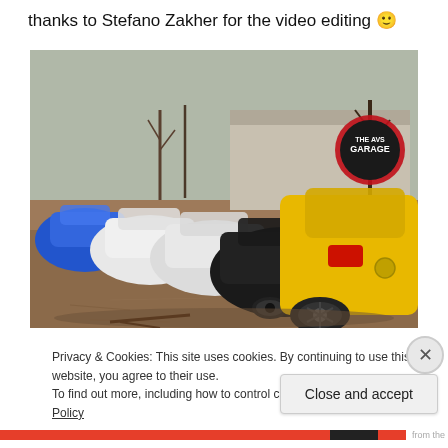thanks to Stefano Zakher for the video editing 🙂
[Figure (photo): A row of hatchback cars parked diagonally on a dirt/gravel lot. Cars range from blue, white, black to yellow (foreground). A circular 'THE AVS GARAGE' sign is visible on a building in the background. Bare winter trees visible.]
Privacy & Cookies: This site uses cookies. By continuing to use this website, you agree to their use.
To find out more, including how to control cookies, see here: Cookie Policy